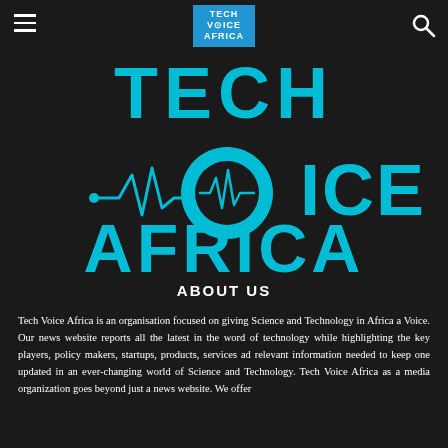Tech Voice Africa navigation header with hamburger menu, logo, and search icon
[Figure (logo): Tech Voice Africa large cyan logo on dark background showing TECH VOICE AFRICA text with heartbeat/waveform graphic replacing the V in VOICE]
ABOUT US
Tech Voice Africa is an organisation focused on giving Science and Technology in Africa a Voice. Our news website reports all the latest in the word of technology while highlighting the key players, policy makers, startups, products, services ad relevant information needed to keep one updated in an ever-changing world of Science and Technology. Tech Voice Africa as a media organization goes beyond just a news website. We offer